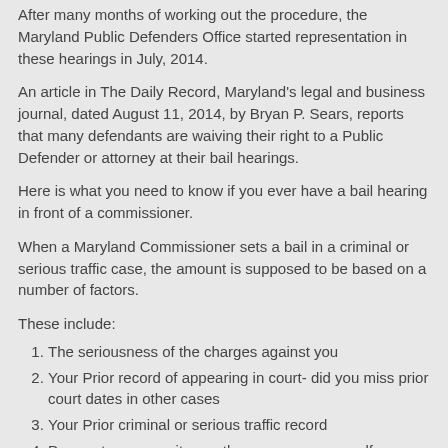After many months of working out the procedure, the Maryland Public Defenders Office started representation in these hearings in July, 2014.
An article in The Daily Record, Maryland's legal and business journal, dated August 11, 2014, by Bryan P. Sears, reports that many defendants are waiving their right to a Public Defender or attorney at their bail hearings.
Here is what you need to know if you ever have a bail hearing in front of a commissioner.
When a Maryland Commissioner sets a bail in a criminal or serious traffic case, the amount is supposed to be based on a number of factors.
These include:
The seriousness of the charges against you
Your Prior record of appearing in court- did you miss prior court dates in other cases
Your Prior criminal or serious traffic record
Danger to community, another person or yourself
Ties to the community such as family, employment, length of residing and property in Maryland.